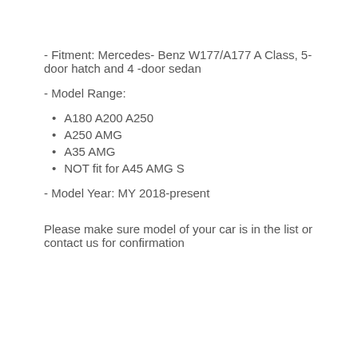- Fitment: Mercedes- Benz W177/A177 A Class, 5-door hatch and 4 -door sedan
- Model Range:
A180 A200 A250
A250 AMG
A35 AMG
NOT fit for A45 AMG S
- Model Year: MY 2018-present
Please make sure model of your car is in the list or contact us for confirmation